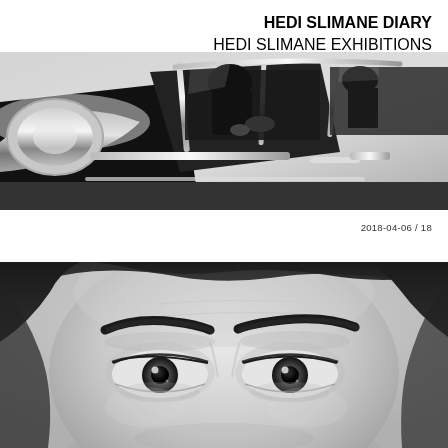HEDI SLIMANE DIARY
HEDI SLIMANE EXHIBITIONS
[Figure (photo): Black and white close-up photograph of a classic vintage car's chrome details and door frame, with a person partially visible inside]
2018-04-06 / 18
[Figure (photo): Black and white close-up photograph of a man's face, cropped to show forehead, brows, and eyes with intense gaze]